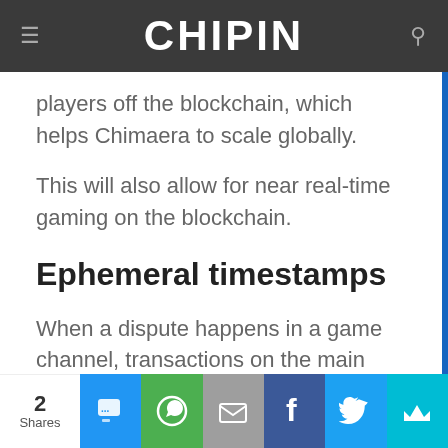CHIPIN
players off the blockchain, which helps Chimaera to scale globally.
This will also allow for near real-time gaming on the blockchain.
Ephemeral timestamps
When a dispute happens in a game channel, transactions on the main Chimaera blockchain need to be made in order to resolve the
2 Shares